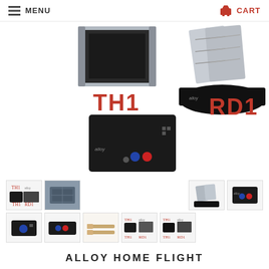MENU   CART
[Figure (photo): Main product image showing Alloy TH1 throttle unit and RD1 rudder pedals with red text labels on white background]
[Figure (photo): Thumbnail grid of product images: alloy flight sim bundle thumbnails, individual unit photos, close-ups, and cockpit photo]
ALLOY HOME FLIGHT